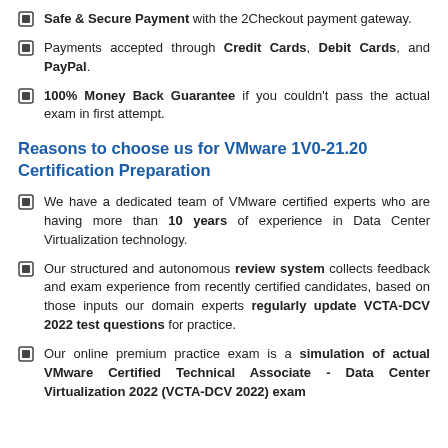Safe & Secure Payment with the 2Checkout payment gateway.
Payments accepted through Credit Cards, Debit Cards, and PayPal.
100% Money Back Guarantee if you couldn't pass the actual exam in first attempt.
Reasons to choose us for VMware 1V0-21.20 Certification Preparation
We have a dedicated team of VMware certified experts who are having more than 10 years of experience in Data Center Virtualization technology.
Our structured and autonomous review system collects feedback and exam experience from recently certified candidates, based on those inputs our domain experts regularly update VCTA-DCV 2022 test questions for practice.
Our online premium practice exam is a simulation of actual VMware Certified Technical Associate - Data Center Virtualization 2022 (VCTA-DCV 2022) exam